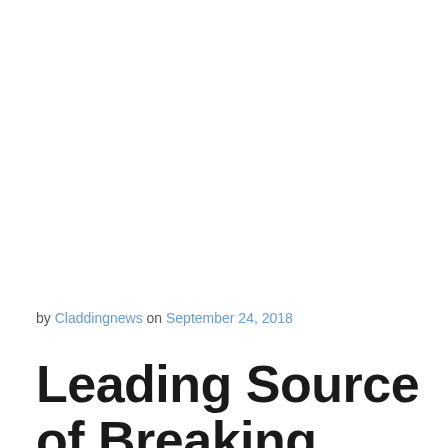by Claddingnews on September 24, 2018
Leading Source of Breaking News on